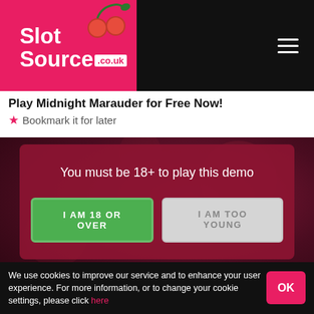[Figure (logo): SlotSource.co.uk logo on pink/red background with cherry graphics]
Play Midnight Marauder for Free Now!
★ Bookmark it for later
[Figure (screenshot): Age verification modal overlay on dark red game background. Text: 'You must be 18+ to play this demo'. Two buttons: 'I AM 18 OR OVER' (green) and 'I AM TOO YOUNG' (grey).]
We use cookies to improve our service and to enhance your user experience. For more information, or to change your cookie settings, please click here